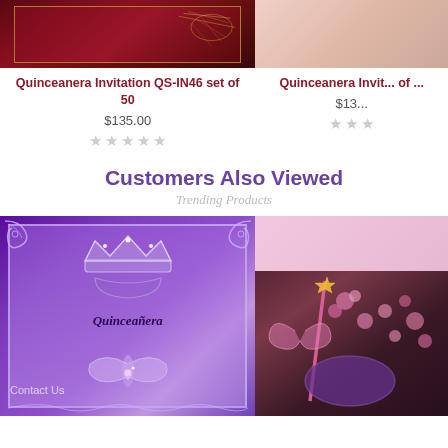[Figure (photo): Quinceanera invitation card with dark red/maroon background and gold floral design, partially visible at top]
Quinceanera Invitation QS-IN46 set of 50
$135.00
[Figure (photo): Partially visible product image with pink/rose tones]
Quinceanera Invit... of ...
$13...
Customers Also Viewed
Trending Products
[Figure (photo): Purple and lavender Quinceanera invitation with crown, butterfly, and silver filigree border on purple background. Text reads 'Quinceañera'. Contact Us overlay visible.]
[Figure (photo): Pink/rose decorative quinceanera items with candles, flowers, on dark purple/maroon background. Partially visible.]